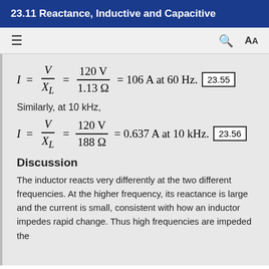23.11 Reactance, Inductive and Capacitive
Similarly, at 10 kHz,
Discussion
The inductor reacts very differently at the two different frequencies. At the higher frequency, its reactance is large and the current is small, consistent with how an inductor impedes rapid change. Thus high frequencies are impeded the